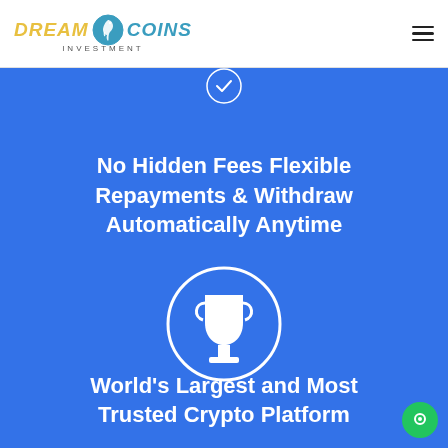DREAM COINS INVESTMENT
[Figure (illustration): Blue card with circle icon containing a checkmark/shield icon at top, partial view]
No Hidden Fees Flexible Repayments & Withdraw Automatically Anytime
[Figure (illustration): Blue card with circle icon containing a trophy/award icon]
World's Largest and Most Trusted Crypto Platform